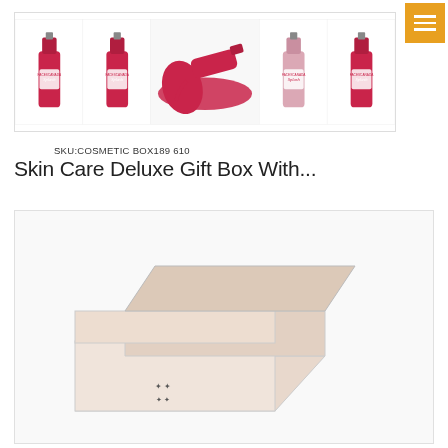[Figure (photo): Navigation menu button (hamburger icon) in orange/yellow square, top right corner]
[Figure (photo): Product image strip showing five Faces Canada Splash nail polish bottles - two red/deep pink bottles, one spilled nail polish photo, one pink bottle, one red bottle - in a white bordered gallery strip]
SKU:COSMETIC BOX189 610
Skin Care Deluxe Gift Box With...
[Figure (photo): White/cream colored gift box with lid partially open, showing minimal Chinese or decorative text/stamp near the bottom, photographed on white background]